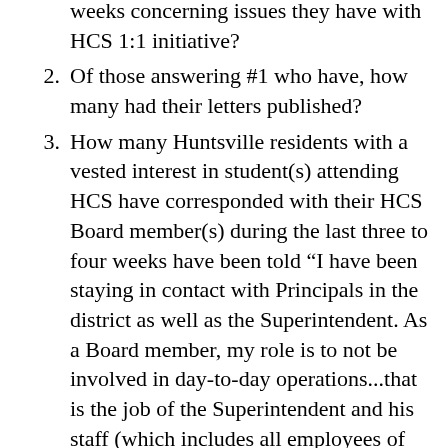weeks concerning issues they have with HCS 1:1 initiative?
Of those answering #1 who have, how many had their letters published?
How many Huntsville residents with a vested interest in student(s) attending HCS have corresponded with their HCS Board member(s) during the last three to four weeks have been told “I have been staying in contact with Principals in the district as well as the Superintendent. As a Board member, my role is to not be involved in day-to-day operations...that is the job of the Superintendent and his staff (which includes all employees of the system). Because I want to stay abreast of what is going on, I do talk with the leaders in the various areas to be